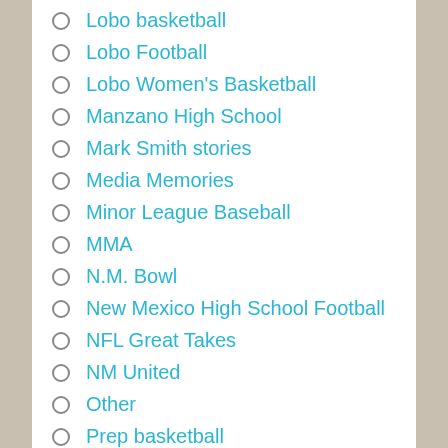Lobo basketball
Lobo Football
Lobo Women's Basketball
Manzano High School
Mark Smith stories
Media Memories
Minor League Baseball
MMA
N.M. Bowl
New Mexico High School Football
NFL Great Takes
NM United
Other
Prep basketball
Prep Football